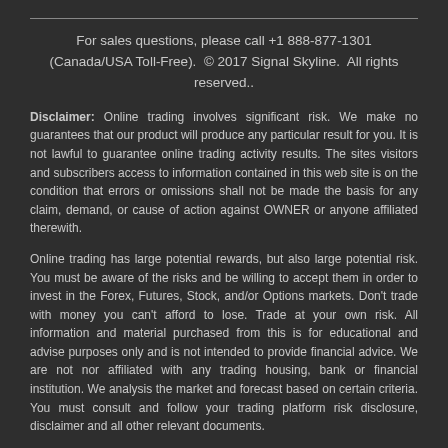For sales questions, please call +1 888-877-1301 (Canada/USA Toll-Free).  © 2017 Signal Skyline.  All rights reserved..
Disclaimer: Online trading involves significant risk. We make no guarantees that our product will produce any particular result for you. It is not lawful to guarantee online trading activity results. The sites visitors and subscribers access to information contained in this web site is on the condition that errors or omissions shall not be made the basis for any claim, demand, or cause of action against OWNER or anyone affiliated therewith.
Online trading has large potential rewards, but also large potential risk. You must be aware of the risks and be willing to accept them in order to invest in the Forex, Futures, Stock, and/or Options markets. Don’t trade with money you can’t afford to lose. Trade at your own risk. All information and material purchased from this is for educational and advise purposes only and is not intended to provide financial advice. We are not nor affiliated with any trading housing, bank or financial institution. We analysis the market and forecast based on certain criteria. You must consult and follow your trading platform risk disclosure, disclaimer and all other relevant documents.